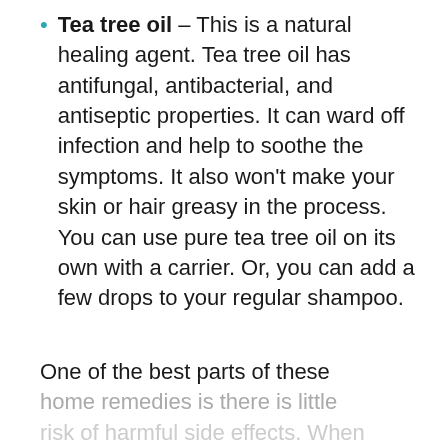Tea tree oil – This is a natural healing agent. Tea tree oil has antifungal, antibacterial, and antiseptic properties. It can ward off infection and help to soothe the symptoms. It also won't make your skin or hair greasy in the process. You can use pure tea tree oil on its own with a carrier. Or, you can add a few drops to your regular shampoo.
One of the best parts of these home remedies is there is little risk of harmful side effects. When